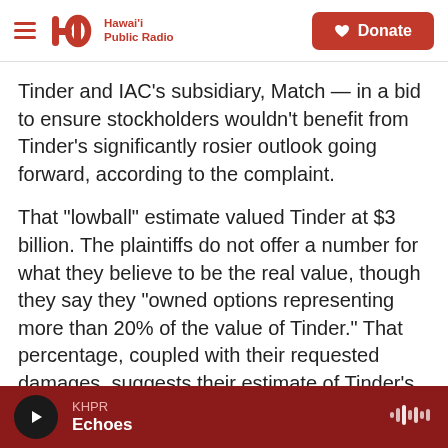Hawai'i Public Radio — Donate
Tinder and IAC's subsidiary, Match — in a bid to ensure stockholders wouldn't benefit from Tinder's significantly rosier outlook going forward, according to the complaint.
That "lowball" estimate valued Tinder at $3 billion. The plaintiffs do not offer a number for what they believe to be the real value, though they say they "owned options representing more than 20% of the value of Tinder." That percentage, coupled with their requested damages, suggests their estimate of Tinder's real value at the time was north of $10 billion.
KHPR Echoes